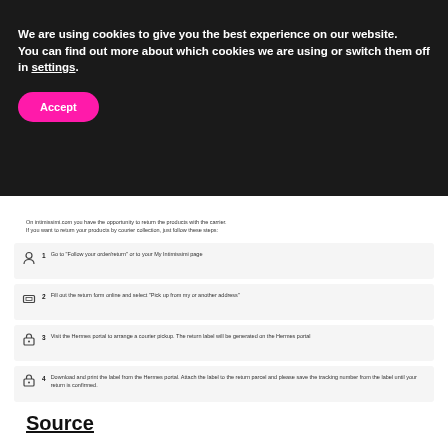We are using cookies to give you the best experience on our website.
You can find out more about which cookies we are using or switch them off in settings.
Accept
On intimissimi.com you have the opportunity to return the products with the carrier.
If you want to return your products by courier collection, just follow these steps:
1  Go to "Follow your order/return" or to your My Intimissimi page
2  Fill out the return form online and select "Pick up from my or another address"
3  Visit the Hermes portal to arrange a courier pickup. The return label will be generated on the Hermes portal
4  Download and print the label from the Hermes portal. Attach the label to the return parcel and please save the tracking number from the label until your return is confirmed.
Source